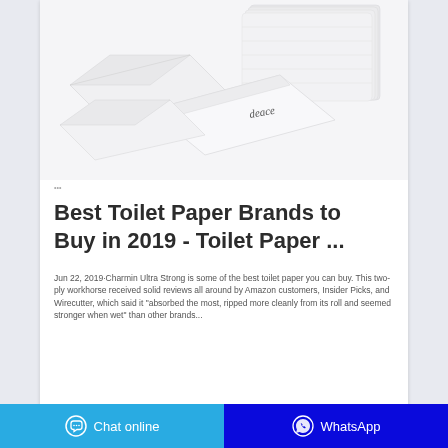[Figure (photo): White tissue paper / napkins product photo showing folded square tissues with 'deace' brand text on one tissue, arranged on white background]
Best Toilet Paper Brands to Buy in 2019 - Toilet Paper ...
Jun 22, 2019·Charmin Ultra Strong is some of the best toilet paper you can buy. This two-ply workhorse received solid reviews all around by Amazon customers, Insider Picks, and Wirecutter, which said it "absorbed the most, ripped more cleanly from its roll and seemed stronger when wet" than other brands...
Chat online   WhatsApp